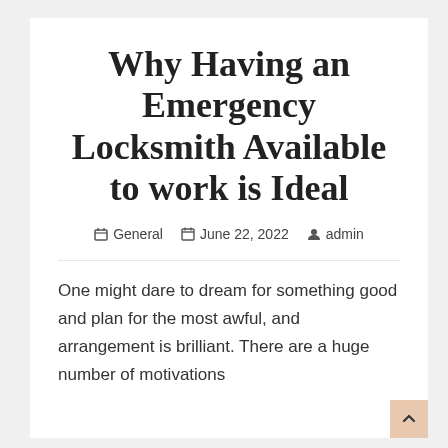Why Having an Emergency Locksmith Available to work is Ideal
General  June 22, 2022  admin
One might dare to dream for something good and plan for the most awful, and arrangement is brilliant. There are a huge number of motivations